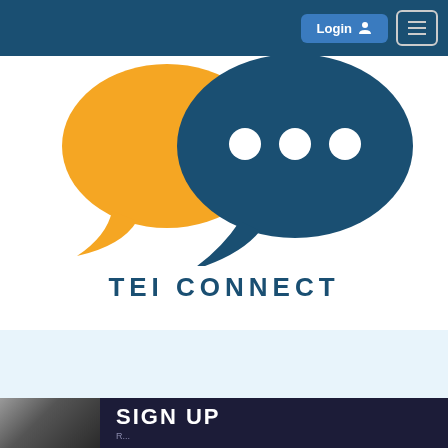Login  ☰
[Figure (illustration): Two overlapping speech bubble icons — an orange bubble on the left and a dark navy blue bubble on the right with three white dots inside it, representing a chat/messaging logo.]
TEI CONNECT
[Figure (photo): A banner image at the bottom showing a hand holding a phone with 'SIGN UP' text overlaid in white bold letters on a dark background.]